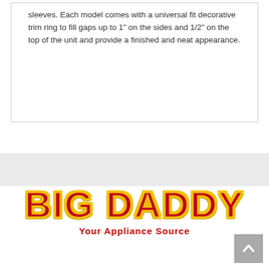sleeves. Each model comes with a universal fit decorative trim ring to fill gaps up to 1" on the sides and 1/2" on the top of the unit and provide a finished and neat appearance.
[Figure (logo): Big Daddy logo with bold red text outlined in yellow, and tagline 'Your Appliance Source' in red below]